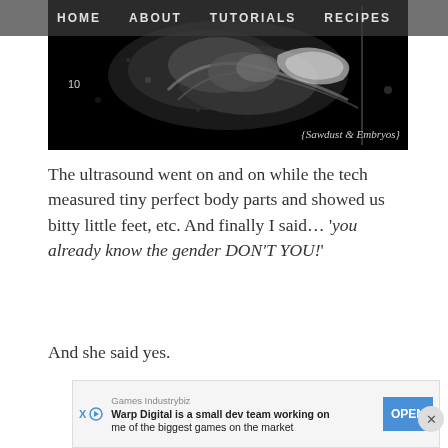HOME   ABOUT   TUTORIALS   RECIPES
[Figure (photo): Ultrasound image with watermark '{Sawdust & Embryos}' in lower right and number '10' on left side]
The ultrasound went on and on while the tech measured tiny perfect body parts and showed us bitty little feet, etc. And finally I said… 'you already know the gender DON'T YOU!'
And she said yes.
[Figure (screenshot): Advertisement banner: Games Industrybiz - Warp Digital is a small dev team working on me of the biggest games on the market - OPEN button]